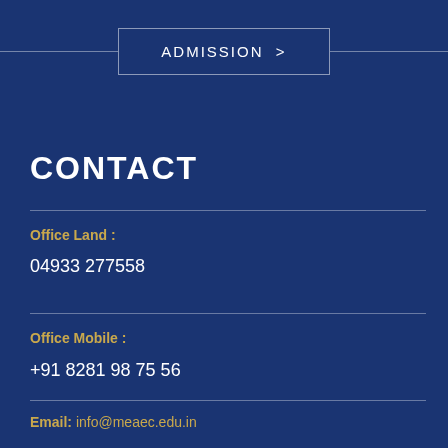ADMISSION >
CONTACT
Office Land :
04933 277558
Office Mobile :
+91 8281 98 75 56
Email: info@meaec.edu.in